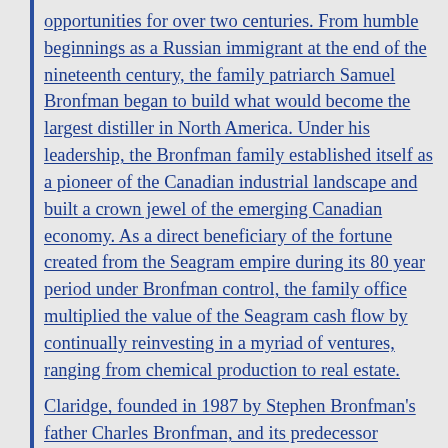opportunities for over two centuries. From humble beginnings as a Russian immigrant at the end of the nineteenth century, the family patriarch Samuel Bronfman began to build what would become the largest distiller in North America. Under his leadership, the Bronfman family established itself as a pioneer of the Canadian industrial landscape and built a crown jewel of the emerging Canadian economy. As a direct beneficiary of the fortune created from the Seagram empire during its 80 year period under Bronfman control, the family office multiplied the value of the Seagram cash flow by continually reinvesting in a myriad of ventures, ranging from chemical production to real estate.
Claridge, founded in 1987 by Stephen Bronfman's father Charles Bronfman, and its predecessor company, Cemp Investments Ltd., have been active private equity investors